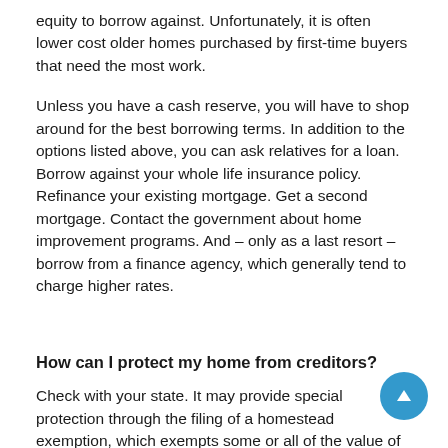equity to borrow against. Unfortunately, it is often lower cost older homes purchased by first-time buyers that need the most work.
Unless you have a cash reserve, you will have to shop around for the best borrowing terms. In addition to the options listed above, you can ask relatives for a loan. Borrow against your whole life insurance policy. Refinance your existing mortgage. Get a second mortgage. Contact the government about home improvement programs. And – only as a last resort – borrow from a finance agency, which generally tend to charge higher rates.
How can I protect my home from creditors?
Check with your state. It may provide special protection through the filing of a homestead exemption, which exempts some or all of the value of your equity in the